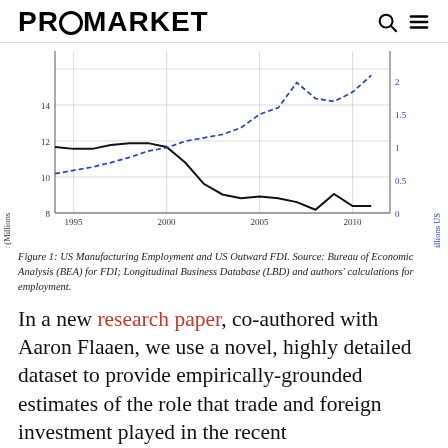PROMARKET
[Figure (line-chart): US Manufacturing Employment and US Outward FDI]
Figure 1: US Manufacturing Employment and US Outward FDI. Source: Bureau of Economic Analysis (BEA) for FDI; Longitudinal Business Database (LBD) and authors' calculations for employment.
In a new research paper, co-authored with Aaron Flaaen, we use a novel, highly detailed dataset to provide empirically-grounded estimates of the role that trade and foreign investment played in the recent decline of manufacturing employment.